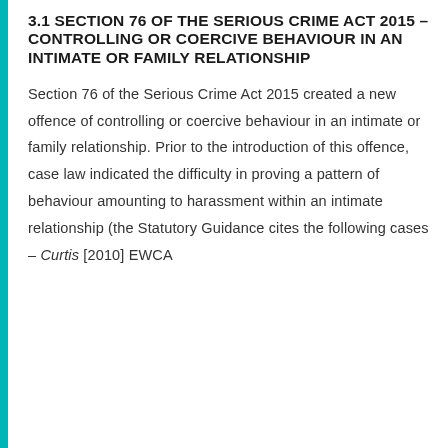3.1 SECTION 76 OF THE SERIOUS CRIME ACT 2015 – CONTROLLING OR COERCIVE BEHAVIOUR IN AN INTIMATE OR FAMILY RELATIONSHIP
Section 76 of the Serious Crime Act 2015 created a new offence of controlling or coercive behaviour in an intimate or family relationship. Prior to the introduction of this offence, case law indicated the difficulty in proving a pattern of behaviour amounting to harassment within an intimate relationship (the Statutory Guidance cites the following cases – Curtis [2010] EWCA